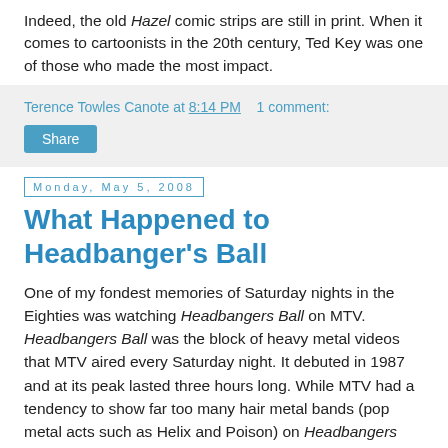Indeed, the old Hazel comic strips are still in print. When it comes to cartoonists in the 20th century, Ted Key was one of those who made the most impact.
Terence Towles Canote at 8:14 PM   1 comment:
Share
Monday, May 5, 2008
What Happened to Headbanger's Ball
One of my fondest memories of Saturday nights in the Eighties was watching Headbangers Ball on MTV. Headbangers Ball was the block of heavy metal videos that MTV aired every Saturday night. It debuted in 1987 and at its peak lasted three hours long. While MTV had a tendency to show far too many hair metal bands (pop metal acts such as Helix and Poison) on Headbangers Ball, one could also see some truly good stuff, such as the latest from Metallica or Queensryche. Sadly, with the decline in the popularity of metal also came a decline in the ratings for Headbangers